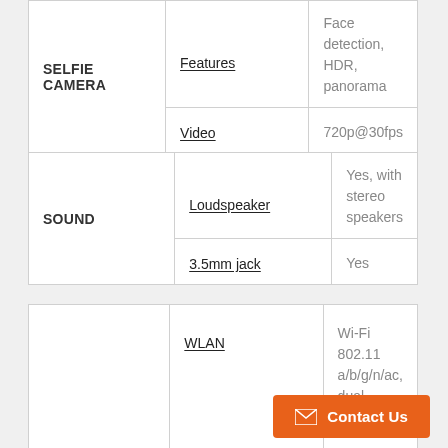| Category | Feature | Value |
| --- | --- | --- |
| SELFIE CAMERA | Features | Face detection, HDR, panorama |
|  | Video | 720p@30fps |
| Category | Feature | Value |
| --- | --- | --- |
| SOUND | Loudspeaker | Yes, with stereo speakers |
|  | 3.5mm jack | Yes |
| Category | Feature | Value |
| --- | --- | --- |
|  | WLAN | Wi-Fi 802.11 a/b/g/n/ac, dual-band, |